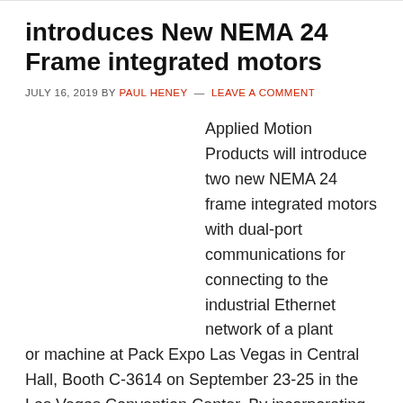introduces New NEMA 24 Frame integrated motors
JULY 16, 2019 BY PAUL HENEY — LEAVE A COMMENT
Applied Motion Products will introduce two new NEMA 24 frame integrated motors with dual-port communications for connecting to the industrial Ethernet network of a plant or machine at Pack Expo Las Vegas in Central Hall, Booth C-3614 on September 23-25 in the Las Vegas Convention Center. By incorporating two M12 Ethernet connectors instead of just […]